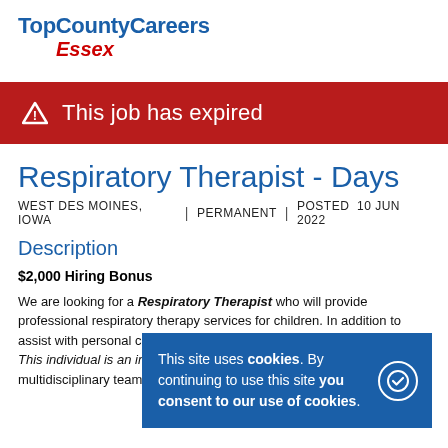TopCountyCareers Essex
This job has expired
Respiratory Therapist - Days
WEST DES MOINES, IOWA | PERMANENT | POSTED 10 JUN 2022
Description
$2,000 Hiring Bonus
We are looking for a Respiratory Therapist who will provide professional respiratory therapy services for children. In addition to assist with personal care and skill development services as needed. This individual is an integral member of the multidisciplinary team that serves children in our inpatient
This site uses cookies. By continuing to use this site you consent to our use of cookies.